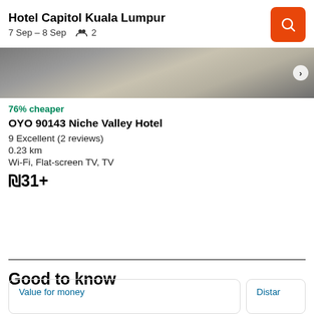Hotel Capitol Kuala Lumpur
7 Sep – 8 Sep   2
[Figure (photo): Hotel room interior photo showing decorative items including a bowl and candles on a dark surface, partially visible]
76% cheaper
OYO 90143 Niche Valley Hotel
9 Excellent (2 reviews)
0.23 km
Wi-Fi, Flat-screen TV, TV
₪31+
Good to know
Value for money
Distar